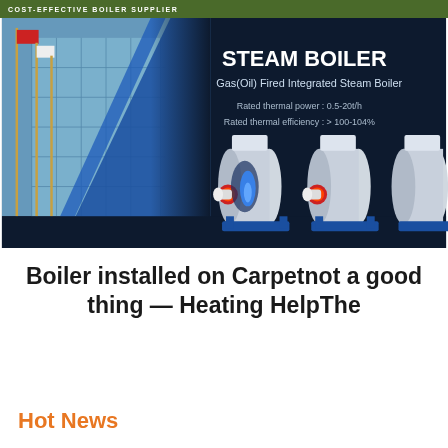COST-EFFECTIVE BOILER SUPPLIER
[Figure (infographic): Steam boiler product banner with dark navy background. Left side shows a building exterior with flags. Right side shows text 'STEAM BOILER', 'Gas(Oil) Fired Integrated Steam Boiler', 'Rated thermal power: 0.5-20t/h', 'Rated thermal efficiency: > 100-104%'. Three industrial steam boiler units are displayed with white cylindrical bodies and blue mounting frames, one shown in cross-section with visible internal flame.]
Boiler installed on Carpetnot a good thing — Heating HelpThe
Hot News